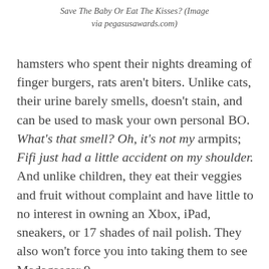Save The Baby Or Eat The Kisses? (Image via pegasusawards.com)
hamsters who spent their nights dreaming of finger burgers, rats aren't biters. Unlike cats, their urine barely smells, doesn't stain, and can be used to mask your own personal BO. What's that smell? Oh, it's not my armpits; Fifi just had a little accident on my shoulder. And unlike children, they eat their veggies and fruit without complaint and have little to no interest in owning an Xbox, iPad, sneakers, or 17 shades of nail polish. They also won't force you into taking them to see Madagascar 9.
And if you're lucky, some lubberly, beef-witted giglet will freak out at the sight of your rattie, you'll film it, post it on YouTube and it will go